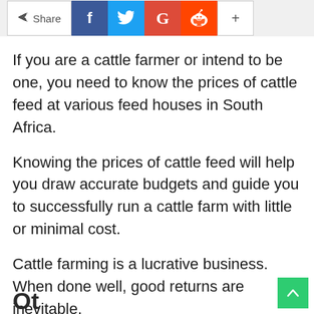[Figure (screenshot): Social share bar with Share button, Facebook (blue), Twitter (light blue), Google+ (red), Reddit (orange-red) icons, and a plus (+) button]
If you are a cattle farmer or intend to be one, you need to know the prices of cattle feed at various feed houses in South Africa.
Knowing the prices of cattle feed will help you draw accurate budgets and guide you to successfully run a cattle farm with little or minimal cost.
Cattle farming is a lucrative business. When done well, good returns are inevitable.
Ot...